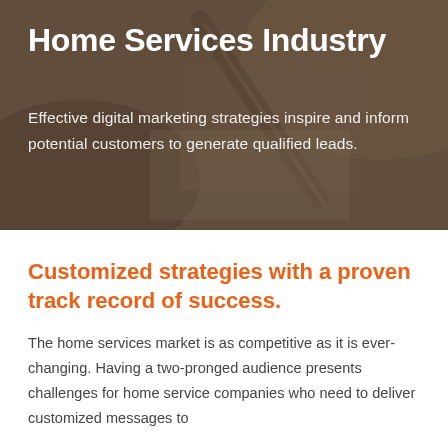[Figure (photo): Background photo of a hand writing with a pencil on paper/clipboard, overlaid with a dark brownish-gray semi-transparent overlay]
Home Services Industry
Effective digital marketing strategies inspire and inform potential customers to generate qualified leads.
Customized strategies with a proven track record of success.
The home services market is as competitive as it is ever-changing. Having a two-pronged audience presents challenges for home service companies who need to deliver customized messages to